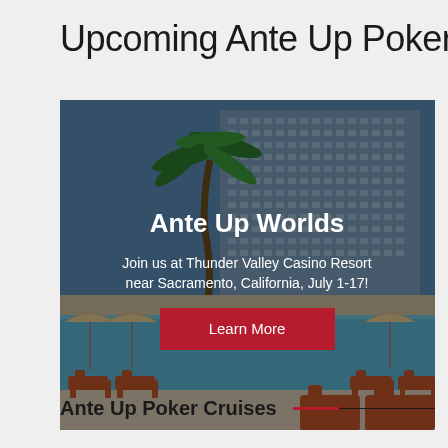Upcoming Ante Up Poker T
[Figure (photo): Ante Up Worlds event card showing Thunder Valley Casino Resort with pool, lounge chairs, palm tree, and hotel tower. Overlay text: 'Ante Up Worlds - Join us at Thunder Valley Casino Resort near Sacramento, California, July 1-17!' with a red Learn More button.]
Ante Up Poker Cruises